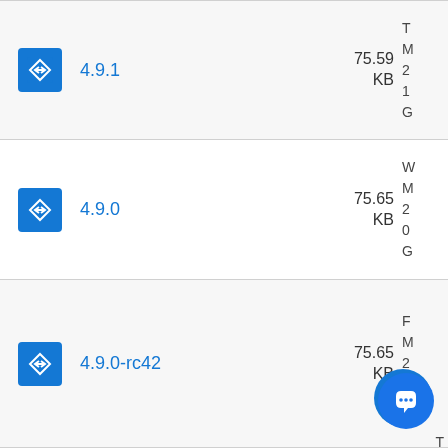4.9.1 — 75.59 KB
4.9.0 — 75.65 KB
4.9.0-rc42 — 75.65 KB